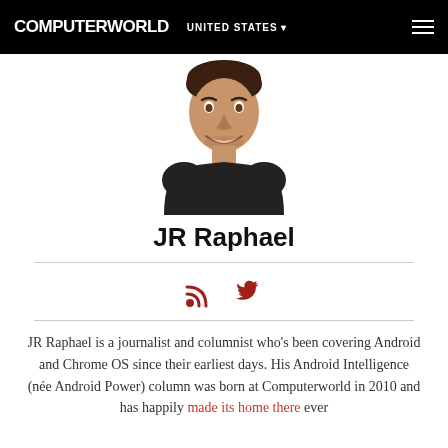COMPUTERWORLD — UNITED STATES
[Figure (photo): Headshot photo of JR Raphael, a smiling young man with brown hair wearing a dark shirt]
JR Raphael
[Figure (infographic): RSS feed icon and Twitter bird icon in dark red/crimson color]
JR Raphael is a journalist and columnist who's been covering Android and Chrome OS since their earliest days. His Android Intelligence (née Android Power) column was born at Computerworld in 2010 and has happily made its home there ever